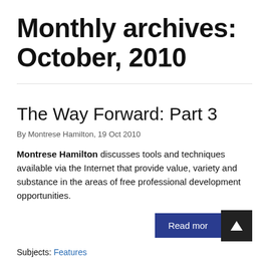Monthly archives: October, 2010
The Way Forward: Part 3
By Montrese Hamilton, 19 Oct 2010
Montrese Hamilton discusses tools and techniques available via the Internet that provide value, variety and substance in the areas of free professional development opportunities.
Read more
Subjects: Features